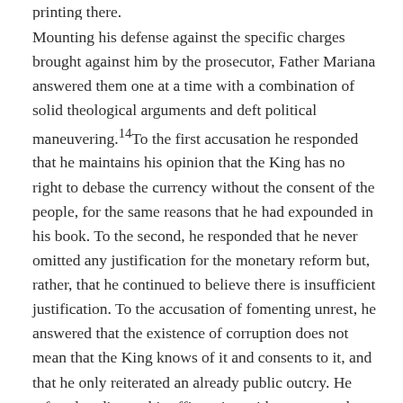printing there.
Mounting his defense against the specific charges brought against him by the prosecutor, Father Mariana answered them one at a time with a combination of solid theological arguments and deft political maneuvering.14 To the first accusation he responded that he maintains his opinion that the King has no right to debase the currency without the consent of the people, for the same reasons that he had expounded in his book. To the second, he responded that he never omitted any justification for the monetary reform but, rather, that he continued to believe there is insufficient justification. To the accusation of fomenting unrest, he answered that the existence of corruption does not mean that the King knows of it and consents to it, and that he only reiterated an already public outcry. He refused to disown his affirmation with respect to the fifth accusation, according to which inflation is a tax for which the King has not obtained consent, which is therefore not legitimate, and which casts the monarch in the role of tyrant.